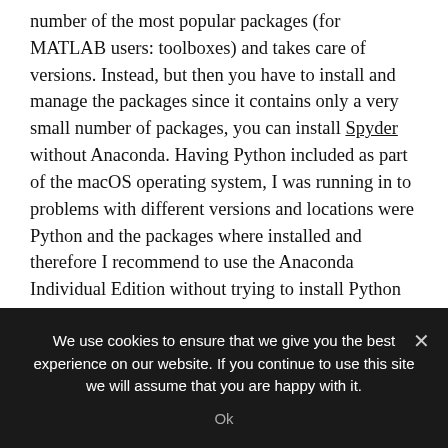number of the most popular packages (for MATLAB users: toolboxes) and takes care of versions. Instead, but then you have to install and manage the packages since it contains only a very small number of packages, you can install Spyder without Anaconda. Having Python included as part of the macOS operating system, I was running in to problems with different versions and locations were Python and the packages where installed and therefore I recommend to use the Anaconda Individual Edition without trying to install Python or Spyder separate from this distribution.
In Spyder, you can also change the working directory
We use cookies to ensure that we give you the best experience on our website. If you continue to use this site we will assume that you are happy with it.